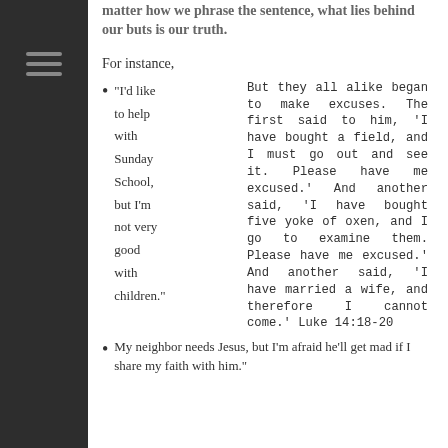matter how we phrase the sentence, what lies behind our buts is our truth.
For instance,
“I’d like to help with Sunday School, but I’m not very good with children.”
But they all alike began to make excuses. The first said to him, ‘I have bought a field, and I must go out and see it. Please have me excused.’ And another said, ‘I have bought five yoke of oxen, and I go to examine them. Please have me excused.’ And another said, ‘I have married a wife, and therefore I cannot come.’ Luke 14:18-20
My neighbor needs Jesus, but I’m afraid he’ll get mad if I share my faith with him.